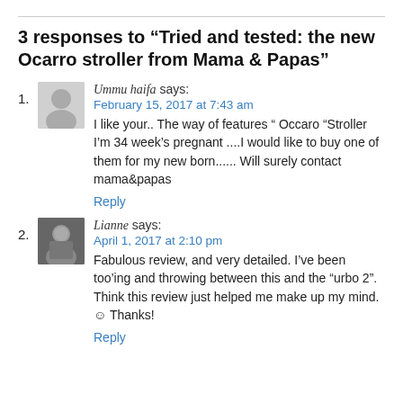3 responses to “Tried and tested: the new Ocarro stroller from Mama & Papas”
1. Ummu haifa says:
February 15, 2017 at 7:43 am
I like your.. The way of features “ Occaro “Stroller I’m 34 week’s pregnant ....I would like to buy one of them for my new born...... Will surely contact mama&papas
Reply
2. Lianne says:
April 1, 2017 at 2:10 pm
Fabulous review, and very detailed. I’ve been too’ing and throwing between this and the “urbo 2”. Think this review just helped me make up my mind. 😊 Thanks!
Reply